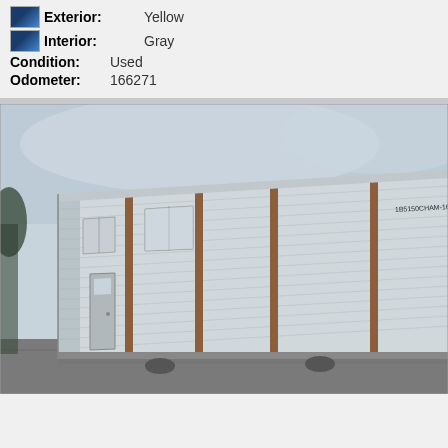Exterior: Yellow
Interior: Gray
Condition: Used
Odometer: 166271
[Figure (photo): Exterior side view of a used mobile home / manufactured home with gray corrugated metal siding and brown vertical trim strips. A VIN or serial number plate reading '1B5150CHAM-1607BB3N-00725' is visible near the roof. The photo is taken at an angle showing both the long side and front corner of the structure, with a cloudy sky above and asphalt below.]